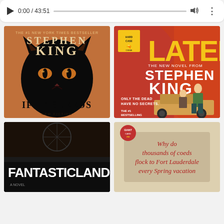[Figure (screenshot): Media player bar showing play button, time 0:00/43:51, progress bar, volume icon, and more options icon]
[Figure (photo): Book cover: Stephen King 'If It Bleeds' - orange cover with black cat face, #1 New York Times Bestseller]
[Figure (photo): Book cover: Stephen King 'Later' - Hard Case Crime edition, red cover with retro pulp art, 'Only the Dead Have No Secrets', The #1 Bestselling Author]
[Figure (photo): Book cover: 'Fantasticland' - dark cover with white title text]
[Figure (photo): Vintage paperback cover with text 'Why do thousands of coeds flock to Fort Lauderdale every Spring vacation']